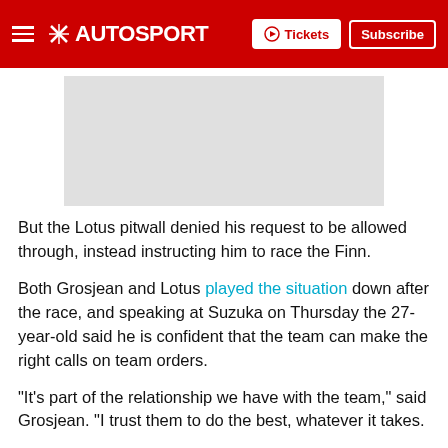AUTOSPORT — Tickets | Subscribe
[Figure (photo): Gray placeholder image area for article photo]
But the Lotus pitwall denied his request to be allowed through, instead instructing him to race the Finn.
Both Grosjean and Lotus played the situation down after the race, and speaking at Suzuka on Thursday the 27-year-old said he is confident that the team can make the right calls on team orders.
"It's part of the relationship we have with the team," said Grosjean. "I trust them to do the best, whatever it takes.